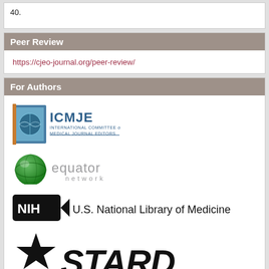40.
Peer Review
https://cjeo-journal.org/peer-review/
For Authors
[Figure (logo): ICMJE International Committee of Medical Journal Editors logo]
[Figure (logo): Equator Network logo]
[Figure (logo): NIH U.S. National Library of Medicine logo]
[Figure (logo): STARD logo with star graphic]